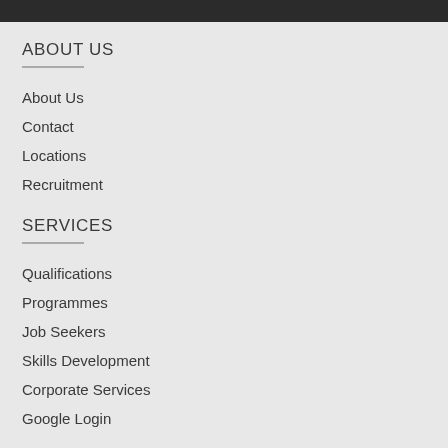ABOUT US
About Us
Contact
Locations
Recruitment
SERVICES
Qualifications
Programmes
Job Seekers
Skills Development
Corporate Services
Google Login